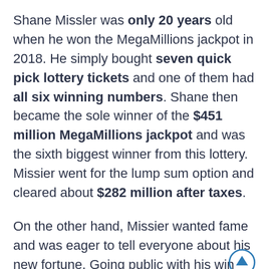Shane Missler was only 20 years old when he won the MegaMillions jackpot in 2018. He simply bought seven quick pick lottery tickets and one of them had all six winning numbers. Shane then became the sole winner of the $451 million MegaMillions jackpot and was the sixth biggest winner from this lottery. Missier went for the lump sum option and cleared about $282 million after taxes.
On the other hand, Missier wanted fame and was eager to tell everyone about his new fortune. Going public with his win attracted